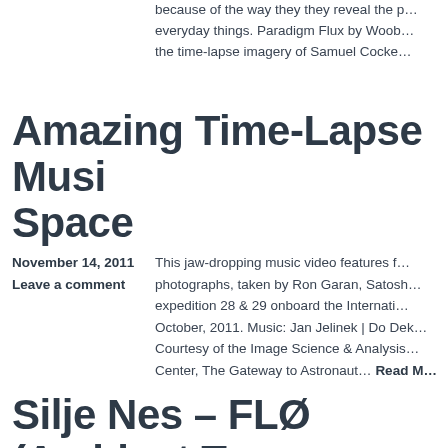because of the way they they reveal the p… everyday things. Paradigm Flux by Woob… the time-lapse imagery of Samuel Cocke…
Amazing Time-Lapse Music Video From Space
November 14, 2011
Leave a comment
This jaw-dropping music video features f… photographs, taken by Ron Garan, Satosh… expedition 28 & 29 onboard the Internati… October, 2011. Music: Jan Jelinek | Do Dek… Courtesy of the Image Science & Analysis… Center, The Gateway to Astronaut… Read M…
Silje Nes – FLØ (Ambient T…